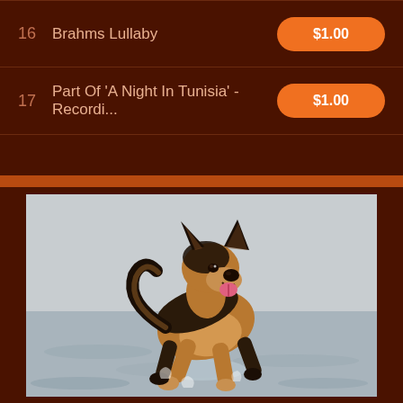16  Brahms Lullaby  $1.00
17  Part Of 'A Night In Tunisia' - Recordi...  $1.00
[Figure (photo): A German Shepherd dog running joyfully through shallow water at a beach, tongue out, ears up, looking energetic and happy. The background shows calm water and a hazy sky.]